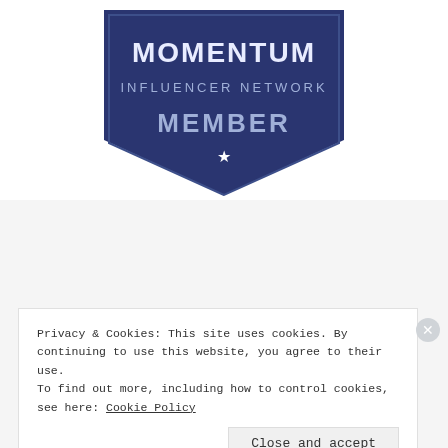[Figure (logo): Momentum Influencer Network Member badge — dark navy blue pentagon/shield shape with text 'MOMENTUM INFLUENCER NETWORK MEMBER' and a star]
- Blog Stats -
127,518 hits
Privacy & Cookies: This site uses cookies. By continuing to use this website, you agree to their use.
To find out more, including how to control cookies, see here: Cookie Policy
Close and accept